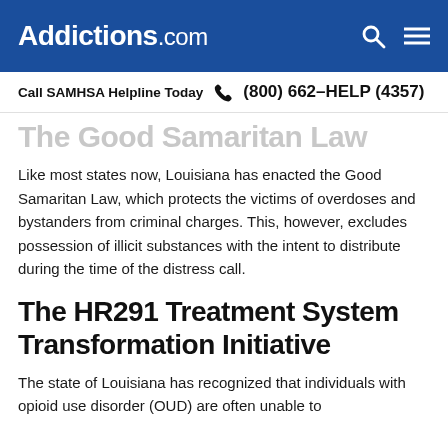Addictions.com
Call SAMHSA Helpline Today  📞 (800) 662-HELP (4357)
The Good Samaritan Law
Like most states now, Louisiana has enacted the Good Samaritan Law, which protects the victims of overdoses and bystanders from criminal charges. This, however, excludes possession of illicit substances with the intent to distribute during the time of the distress call.
The HR291 Treatment System Transformation Initiative
The state of Louisiana has recognized that individuals with opioid use disorder (OUD) are often unable to